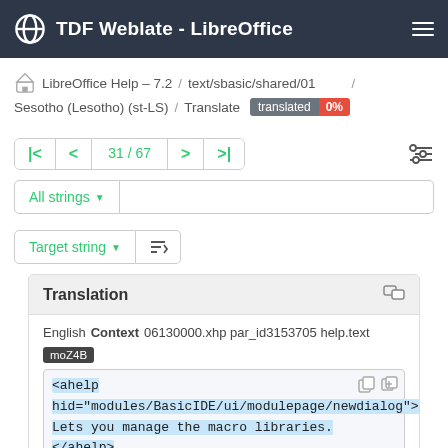TDF Weblate - LibreOffice
LibreOffice Help – 7.2 / text/sbasic/shared/01 / Sesotho (Lesotho) (st-LS) / Translate translated 0%
31 / 67
All strings
Target string
Translation
English Context 06130000.xhp par_id3153705 help.text moZ4B
<ahelp hid="modules/BasicIDE/ui/modulepage/newdialog">Lets you manage the macro libraries.</ahelp>